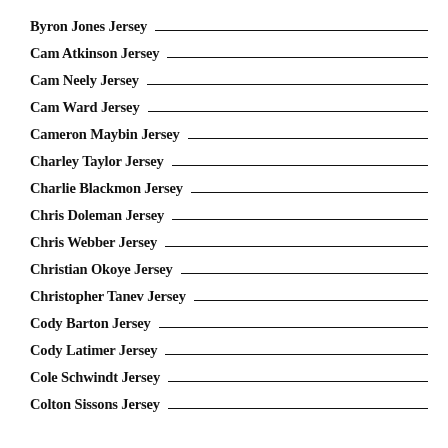Byron Jones Jersey
Cam Atkinson Jersey
Cam Neely Jersey
Cam Ward Jersey
Cameron Maybin Jersey
Charley Taylor Jersey
Charlie Blackmon Jersey
Chris Doleman Jersey
Chris Webber Jersey
Christian Okoye Jersey
Christopher Tanev Jersey
Cody Barton Jersey
Cody Latimer Jersey
Cole Schwindt Jersey
Colton Sissons Jersey